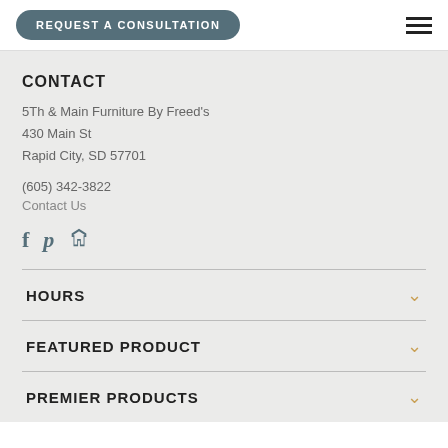REQUEST A CONSULTATION
CONTACT
5Th & Main Furniture By Freed's
430 Main St
Rapid City, SD 57701
(605) 342-3822
Contact Us
[Figure (infographic): Social media icons: Facebook (f), Pinterest (P), Houzz (h)]
HOURS
FEATURED PRODUCT
PREMIER PRODUCTS